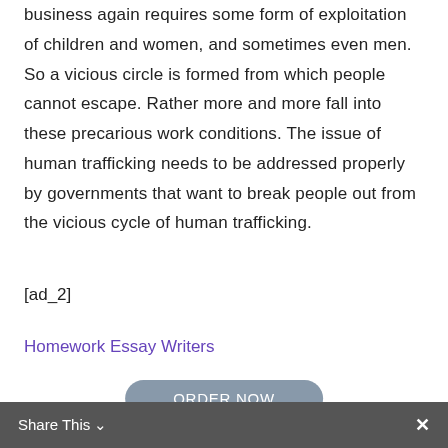business again requires some form of exploitation of children and women, and sometimes even men. So a vicious circle is formed from which people cannot escape. Rather more and more fall into these precarious work conditions. The issue of human trafficking needs to be addressed properly by governments that want to break people out from the vicious cycle of human trafficking.
[ad_2]
Homework Essay Writers
ORDER NOW
Share This ✓  ✕